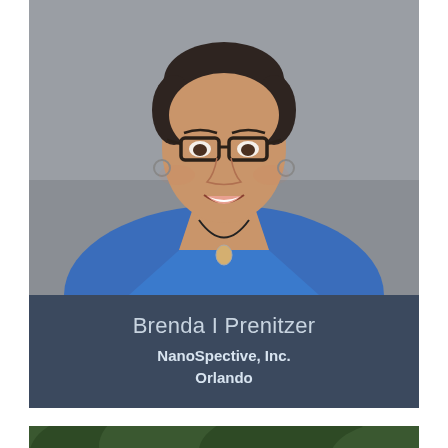[Figure (photo): Professional headshot of Brenda I Prenitzer, a woman with short dark hair wearing glasses, a blue top, and a necklace with a pendant, photographed against a gray background]
Brenda I Prenitzer
NanoSpective, Inc.
Orlando
[Figure (photo): Partial view of an outdoor scene with green foliage/trees, bottom of page]